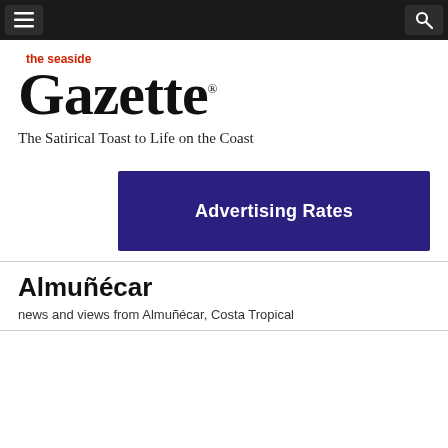Navigation bar with menu and search buttons
[Figure (logo): The Seaside Gazette newspaper logo — 'the seaside' in red above 'Gazette' in large black Old English/blackletter style font with registered trademark symbol]
The Satirical Toast to Life on the Coast
[Figure (infographic): Dark navy/purple rectangular banner with white bold text reading 'Advertising Rates']
Almuñécar
news and views from Almuñécar, Costa Tropical